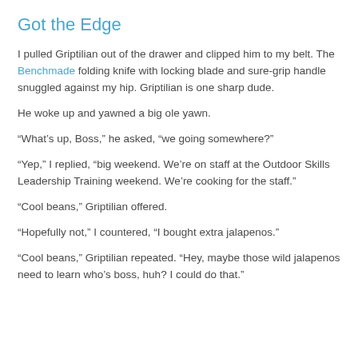Got the Edge
I pulled Griptilian out of the drawer and clipped him to my belt. The Benchmade folding knife with locking blade and sure-grip handle snuggled against my hip. Griptilian is one sharp dude.
He woke up and yawned a big ole yawn.
“What’s up, Boss,” he asked, “we going somewhere?”
“Yep,” I replied, “big weekend. We’re on staff at the Outdoor Skills Leadership Training weekend. We’re cooking for the staff.”
“Cool beans,” Griptilian offered.
“Hopefully not,” I countered, “I bought extra jalapenos.”
“Cool beans,” Griptilian repeated. “Hey, maybe those wild jalapenos need to learn who’s boss, huh? I could do that.”